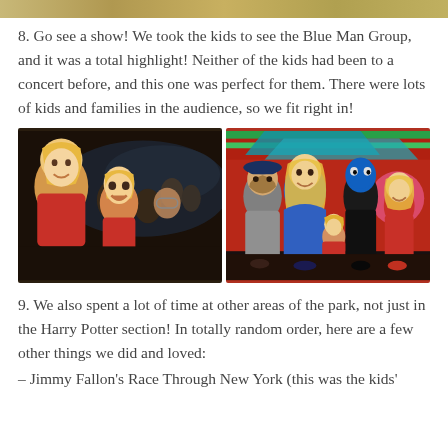[Figure (photo): Partial top strip of a photo visible at the very top of the page]
8. Go see a show! We took the kids to see the Blue Man Group, and it was a total highlight! Neither of the kids had been to a concert before, and this one was perfect for them. There were lots of kids and families in the audience, so we fit right in!
[Figure (photo): Two side-by-side photos: left shows a family selfie in a dark concert venue with audience in background; right shows a family posing with a Blue Man Group performer in front of a colorful red/blue backdrop]
9. We also spent a lot of time at other areas of the park, not just in the Harry Potter section! In totally random order, here are a few other things we did and loved:
– Jimmy Fallon's Race Through New York (this was the kids'